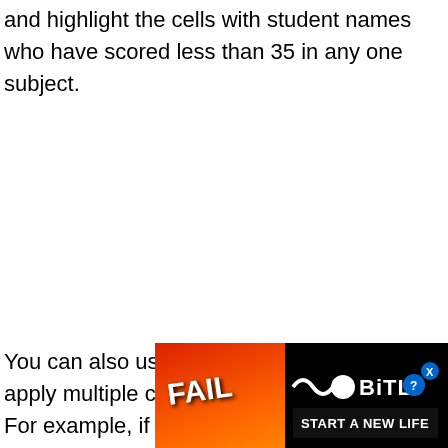and highlight the cells with student names who have scored less than 35 in any one subject.
You can also use the same steps above to apply multiple conditional formatting rules. For example, if you also
[Figure (other): BitLife advertisement banner with 'FAIL' text, animated character, and 'START A NEW LIFE' call to action on black background]